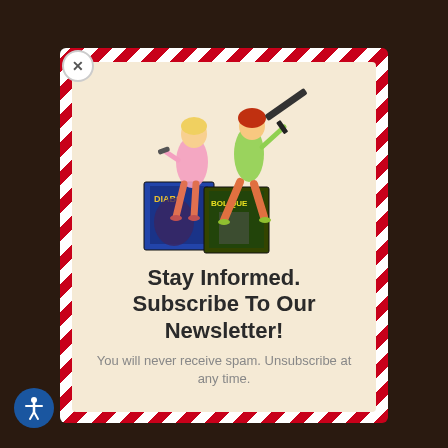[Figure (illustration): Two illustrated women in retro spy style holding weapons, standing over comic book covers labeled 'Diabolique' and 'Bolique']
Stay Informed. Subscribe To Our Newsletter!
You will never receive spam. Unsubscribe at any time.